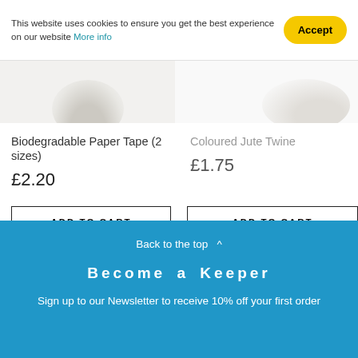This website uses cookies to ensure you get the best experience on our website More info
Biodegradable Paper Tape (2 sizes)
£2.20
Coloured Jute Twine
£1.75
ADD TO CART
ADD TO CART
Back to the top ^
Become a Keeper
Sign up to our Newsletter to receive 10% off your first order